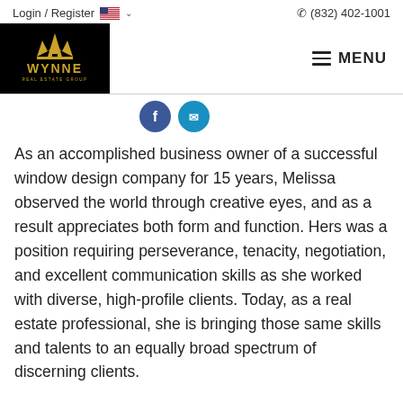Login / Register  🇺🇸 ∨   ☎ (832) 402-1001
[Figure (logo): Wynne Real Estate Group logo — gold crown/house icon on black background with text WYNNE REAL ESTATE GROUP]
[Figure (other): Two circular social media icon buttons (Facebook blue, Twitter blue)]
As an accomplished business owner of a successful window design company for 15 years, Melissa observed the world through creative eyes, and as a result appreciates both form and function. Hers was a position requiring perseverance, tenacity, negotiation, and excellent communication skills as she worked with diverse, high-profile clients. Today, as a real estate professional, she is bringing those same skills and talents to an equally broad spectrum of discerning clients.